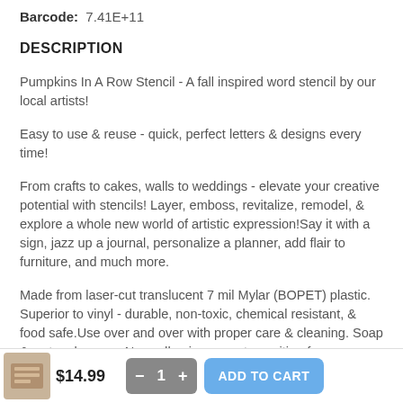Barcode: 7.41E+11
DESCRIPTION
Pumpkins In A Row Stencil - A fall inspired word stencil by our local artists!
Easy to use & reuse - quick, perfect letters & designs every time!
From crafts to cakes, walls to weddings - elevate your creative potential with stencils! Layer, emboss, revitalize, remodel, & explore a whole new world of artistic expression!Say it with a sign, jazz up a journal, personalize a planner, add flair to furniture, and much more.
Made from laser-cut translucent 7 mil Mylar (BOPET) plastic. Superior to vinyl - durable, non-toxic, chemical resistant, & food safe.Use over and over with proper care & cleaning. Soap & water clean-up. Non-adhesive, easy to position for no-mess use & storage.
$14.99  — 1 +  ADD TO CART  stencils are created with care in our shop in ohio, b... all about making the best stencils you've ever used.If you want a way...